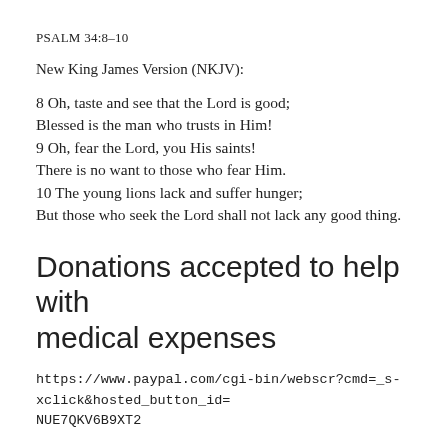PSALM 34:8-10
New King James Version (NKJV):
8 Oh, taste and see that the Lord is good;
Blessed is the man who trusts in Him!
9 Oh, fear the Lord, you His saints!
There is no want to those who fear Him.
10 The young lions lack and suffer hunger;
But those who seek the Lord shall not lack any good thing.
Donations accepted to help with medical expenses
https://www.paypal.com/cgi-bin/webscr?cmd=_s-xclick&hosted_button_id=NUE7QKV6B9XT2